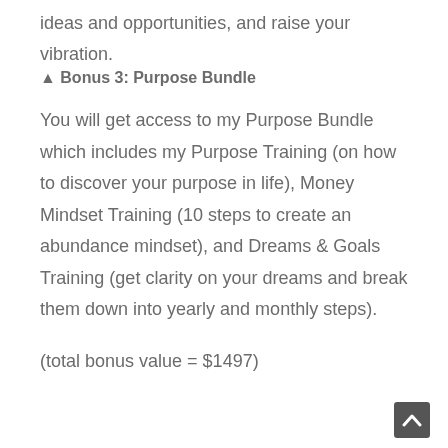ideas and opportunities, and raise your vibration.
▲ Bonus 3: Purpose Bundle
You will get access to my Purpose Bundle which includes my Purpose Training (on how to discover your purpose in life), Money Mindset Training (10 steps to create an abundance mindset), and Dreams & Goals Training (get clarity on your dreams and break them down into yearly and monthly steps).
(total bonus value = $1497)